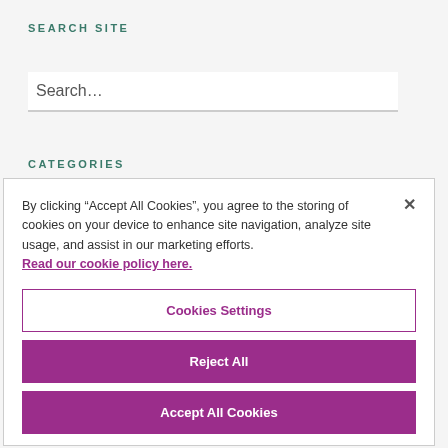SEARCH SITE
Search...
CATEGORIES
By clicking “Accept All Cookies”, you agree to the storing of cookies on your device to enhance site navigation, analyze site usage, and assist in our marketing efforts. Read our cookie policy here.
Cookies Settings
Reject All
Accept All Cookies